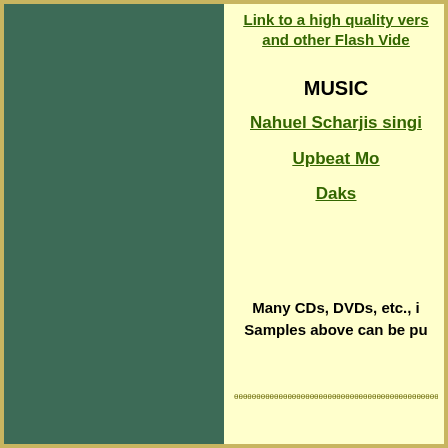Link to a high quality vers and other Flash Vide
MUSIC
Nahuel Scharjis singi
Upbeat Mo
Daks
Many CDs, DVDs, etc., i Samples above can be pu
θθθθθθθθθθθθθθθθθθθθθθθθθθθθθθθθθθθθθθ